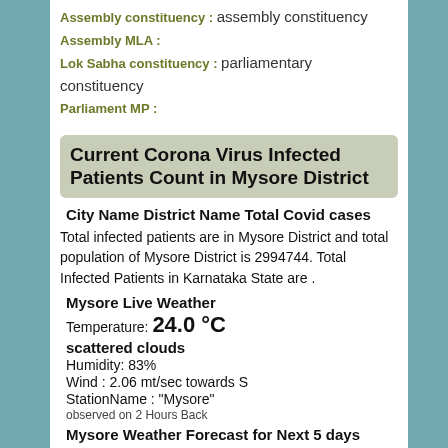Assembly constituency : assembly constituency
Assembly MLA :
Lok Sabha constituency : parliamentary constituency
Parliament MP :
Current Corona Virus Infected Patients Count in Mysore District
City Name District Name Total Covid cases
Total infected patients are in Mysore District and total population of Mysore District is 2994744. Total Infected Patients in Karnataka State are .
Mysore Live Weather
Temperature: 24.0 °C
scattered clouds
Humidity: 83%
Wind : 2.06 mt/sec towards S
StationName : "Mysore"
observed on 2 Hours Back
Mysore Weather Forecast for Next 5 days
30-08-2022
22.0°C to 23.6°C
moderate rain
31-08-2022